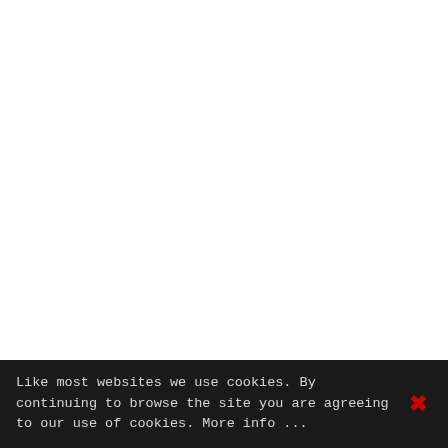Like most websites we use cookies. By continuing to browse the site you are agreeing to our use of cookies. More info ...